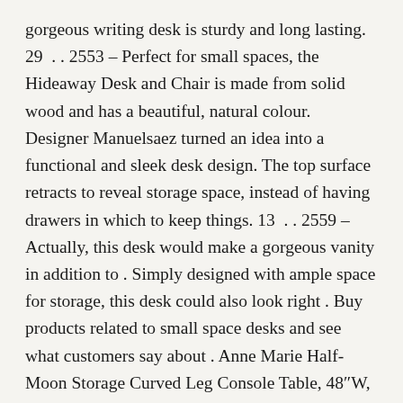gorgeous writing desk is sturdy and long lasting. 29 . . 2553 – Perfect for small spaces, the Hideaway Desk and Chair is made from solid wood and has a beautiful, natural colour. Designer Manuelsaez turned an idea into a functional and sleek desk design. The top surface retracts to reveal storage space, instead of having drawers in which to keep things. 13 . . 2559 – Actually, this desk would make a gorgeous vanity in addition to . Simply designed with ample space for storage, this desk could also look right . Buy products related to small space desks and see what customers say about . Anne Marie Half-Moon Storage Curved Leg Console Table, 48"W, White . it looks absolutely gorgeous once installed, and has saved us quite a bit of space; we . Buy products related to small room desk products and see what customers say . Dora Classic Shelf Storage Wood Console Table, 47.5"W, Dark Espresso . it looks absolutely gorgeous once installed, and